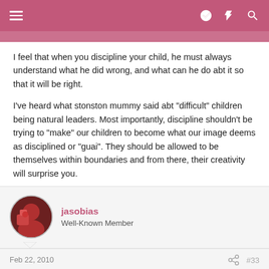Forum navigation header with hamburger menu, login, lightning, and search icons
I feel that when you discipline your child, he must always understand what he did wrong, and what can he do abt it so that it will be right.
I've heard what stonston mummy said abt "difficult" children being natural leaders. Most importantly, discipline shouldn't be trying to "make" our children to become what our image deems as disciplined or "guai". They should be allowed to be themselves within boundaries and from there, their creativity will surprise you.
jasobias
Well-Known Member
Feb 22, 2010  #33